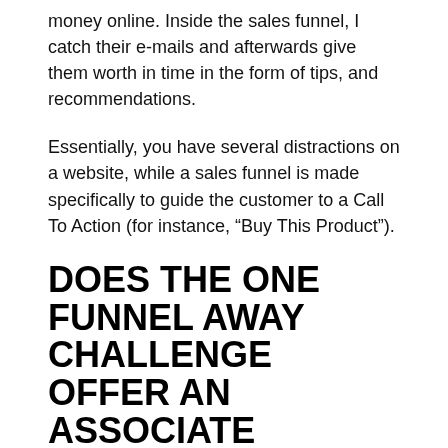money online. Inside the sales funnel, I catch their e-mails and afterwards give them worth in time in the form of tips, and recommendations.
Essentially, you have several distractions on a website, while a sales funnel is made specifically to guide the customer to a Call To Action (for instance, “Buy This Product”).
DOES THE ONE FUNNEL AWAY CHALLENGE OFFER AN ASSOCIATE PROGRAM?
Yes, the One Funnel Away Challenge has an associate program. It’s one of minority